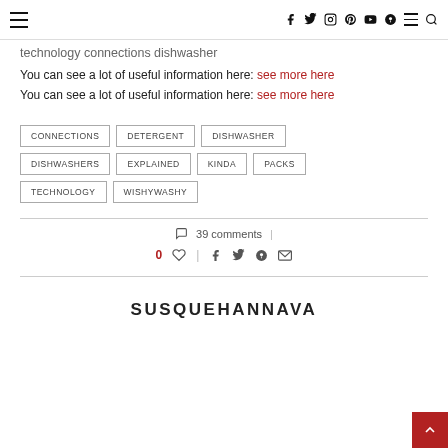≡   f  ✦  ◎  ⊕  ▶  ●  ≡  🔍
technology connections dishwasher
You can see a lot of useful information here: see more here
You can see a lot of useful information here: see more here
CONNECTIONS
DETERGENT
DISHWASHER
DISHWASHERS
EXPLAINED
KINDA
PACKS
TECHNOLOGY
WISHYWASHY
○ 39 comments  |  0 ♡  |  f  ✦  ⊕  ✉
SUSQUEHANNAVA